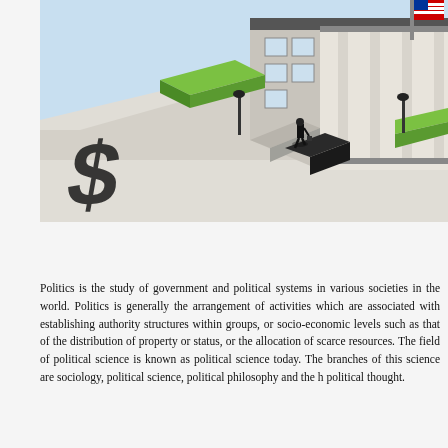[Figure (illustration): Isometric illustration of a government building (resembling a stock exchange or federal building) with large columns, US flag, green plaza areas, and a lone businessperson walking across a plaza with a large dollar sign symbol on the ground.]
Politics is the study of government and political systems in various societies in the world. Politics is generally the arrangement of activities which are associated with establishing authority structures within groups, or socio-economic levels such as that of the distribution of property or status, or the allocation of scarce resources. The field of political science is known as political science today. The branches of this science are sociology, political science, political philosophy and the history of political thought.